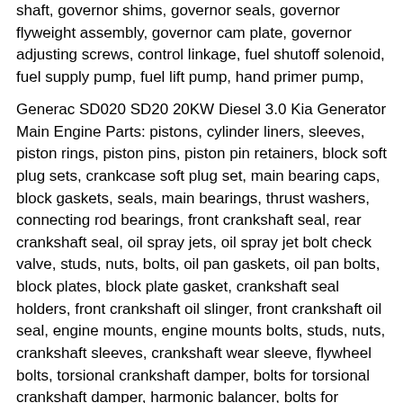shaft, governor shims, governor seals, governor flyweight assembly, governor cam plate, governor adjusting screws, control linkage, fuel shutoff solenoid, fuel supply pump, fuel lift pump, hand primer pump,
Generac SD020 SD20 20KW Diesel 3.0 Kia Generator Main Engine Parts: pistons, cylinder liners, sleeves, piston rings, piston pins, piston pin retainers, block soft plug sets, crankcase soft plug set, main bearing caps, block gaskets, seals, main bearings, thrust washers, connecting rod bearings, front crankshaft seal, rear crankshaft seal, oil spray jets, oil spray jet bolt check valve, studs, nuts, bolts, oil pan gaskets, oil pan bolts, block plates, block plate gasket, crankshaft seal holders, front crankshaft oil slinger, front crankshaft oil seal, engine mounts, engine mounts bolts, studs, nuts, crankshaft sleeves, crankshaft wear sleeve, flywheel bolts, torsional crankshaft damper, bolts for torsional crankshaft damper, harmonic balancer, bolts for harmonic balancer